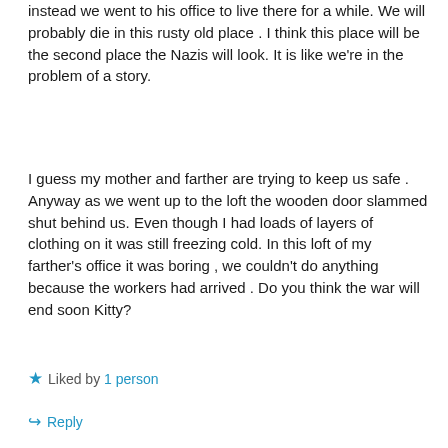instead we went to his office to live there for a while. We will probably die in this rusty old place . I think this place will be the second place the Nazis will look. It is like we're in the problem of a story.
I guess my mother and farther are trying to keep us safe . Anyway as we went up to the loft the wooden door slammed shut behind us. Even though I had loads of layers of clothing on it was still freezing cold. In this loft of my farther's office it was boring , we couldn't do anything because the workers had arrived . Do you think the war will end soon Kitty?
Liked by 1 person
Reply